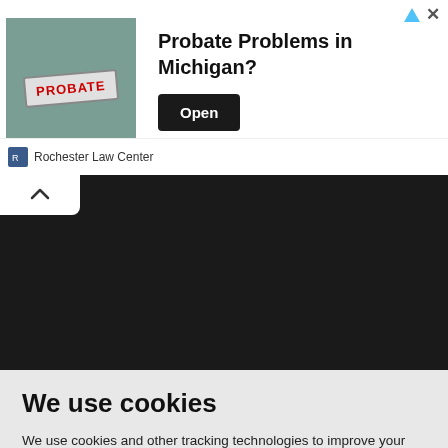[Figure (screenshot): Advertisement banner for Rochester Law Center: Probate stamp image on left, headline 'Probate Problems in Michigan?' with Open button on right, Rochester Law Center branding below.]
[Figure (screenshot): Dark black collapsed content area with a white tab showing an up-arrow (caret) on the top-left.]
We use cookies
We use cookies and other tracking technologies to improve your browsing experience on our website, to show you personalized content and targeted ads, to analyze our website traffic, and to understand where our visitors are coming from.
I agree | Change my preferences